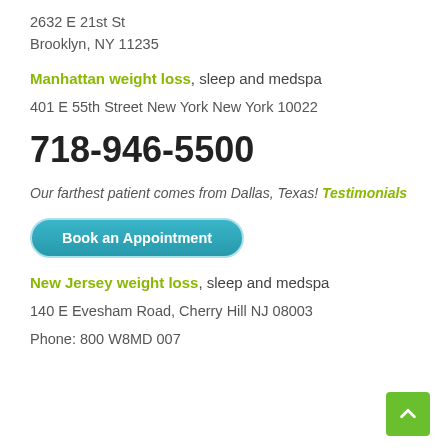2632 E 21st St
Brooklyn, NY 11235
Manhattan weight loss, sleep and medspa
401 E 55th Street New York New York 10022
718-946-5500
Our farthest patient comes from Dallas, Texas! Testimonials
Book an Appointment
New Jersey weight loss, sleep and medspa
140 E Evesham Road, Cherry Hill NJ 08003
Phone: 800 W8MD 007